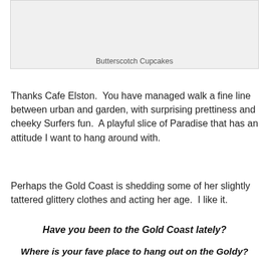[Figure (photo): Photo placeholder showing Butterscotch Cupcakes, rendered as a light grey rectangle]
Butterscotch Cupcakes
Thanks Cafe Elston.  You have managed walk a fine line between urban and garden, with surprising prettiness and cheeky Surfers fun.  A playful slice of Paradise that has an attitude I want to hang around with.
Perhaps the Gold Coast is shedding some of her slightly tattered glittery clothes and acting her age.  I like it.
Have you been to the Gold Coast lately?
Where is your fave place to hang out on the Goldy?